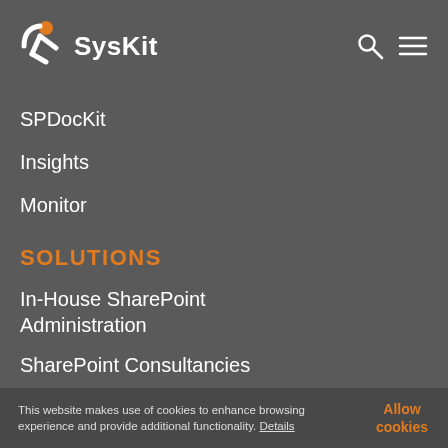[Figure (logo): SysKit logo with stylized SK icon in orange/white and SysKit wordmark in white]
SPDocKit
Insights
Monitor
SOLUTIONS
In-House SharePoint Administration
SharePoint Consultancies
Office 365 Reporting and Management
SharePoint Migration
This website makes use of cookies to enhance browsing experience and provide additional functionality. Details    Allow cookies